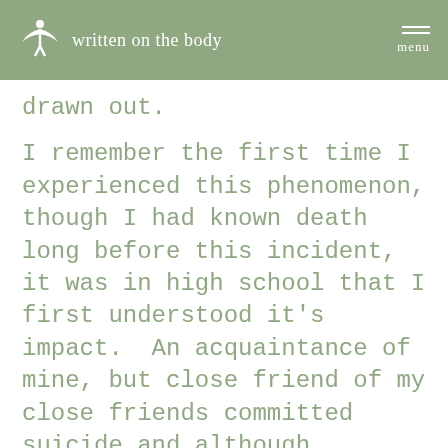written on the body | menu
drawn out.
I remember the first time I experienced this phenomenon, though I had known death long before this incident, it was in high school that I first understood it's impact.  An acquaintance of mine, but close friend of my close friends committed suicide and although...